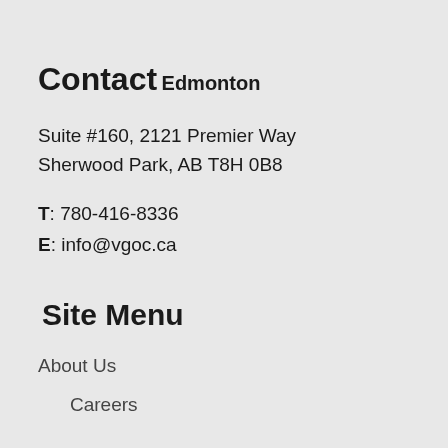Contact
Edmonton
Suite #160, 2121 Premier Way
Sherwood Park, AB T8H 0B8
T: 780-416-8336
E: info@vgoc.ca
Site Menu
About Us
Careers